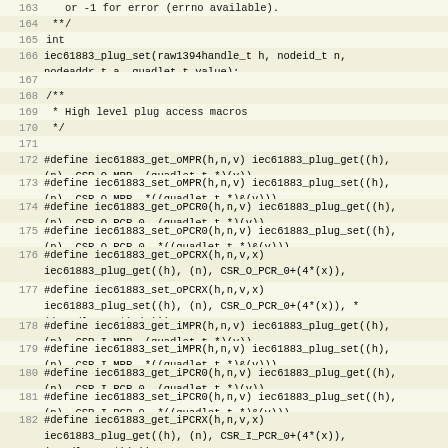Source code listing lines 163-182, C header file with iec61883 plug access macros and function declarations